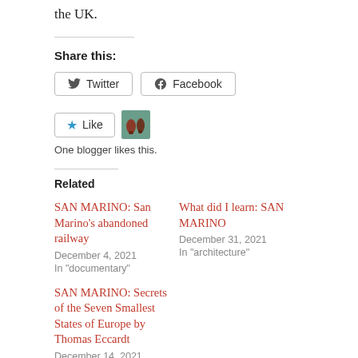the UK.
Share this:
Twitter  Facebook
Like  One blogger likes this.
Related
SAN MARINO: San Marino's abandoned railway
December 4, 2021
In "documentary"
What did I learn: SAN MARINO
December 31, 2021
In "architecture"
SAN MARINO: Secrets of the Seven Smallest States of Europe by Thomas Eccardt
December 14, 2021